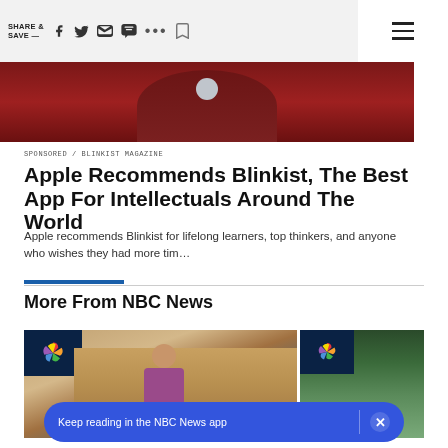SHARE & SAVE —
[Figure (photo): Person in dark red hoodie looking at phone, outdoors with rocks in background]
SPONSORED / BLINKIST MAGAZINE
Apple Recommends Blinkist, The Best App For Intellectuals Around The World
Apple recommends Blinkist for lifelong learners, top thinkers, and anyone who wishes they had more tim…
More From NBC News
[Figure (photo): NBC News thumbnail images: woman in store aisle on left, outdoor scene on right]
Keep reading in the NBC News app